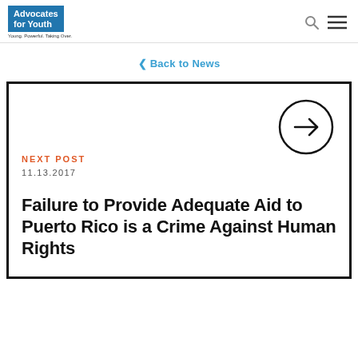Advocates for Youth — Young. Powerful. Taking Over.
< Back to News
NEXT POST
11.13.2017
Failure to Provide Adequate Aid to Puerto Rico is a Crime Against Human Rights